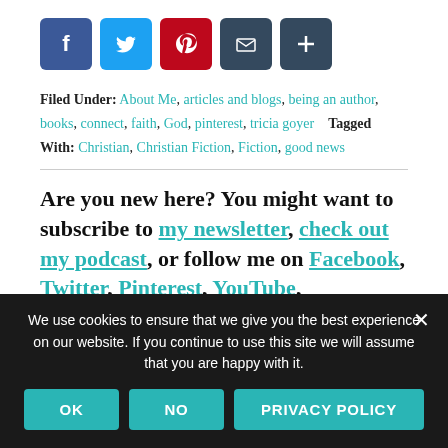[Figure (infographic): Row of 5 social share icon buttons: Facebook (blue), Twitter (light blue), Pinterest (red), Email/envelope (dark), Share/plus (dark)]
Filed Under: About Me, articles and blogs, being an author, books, connect, faith, God, pinterest, tricia goyer   Tagged With: Christian, Christian Fiction, Fiction, good news
Are you new here? You might want to subscribe to my newsletter, check out my podcast, or follow me on Facebook, Twitter, Pinterest, YouTube,
We use cookies to ensure that we give you the best experience on our website. If you continue to use this site we will assume that you are happy with it.